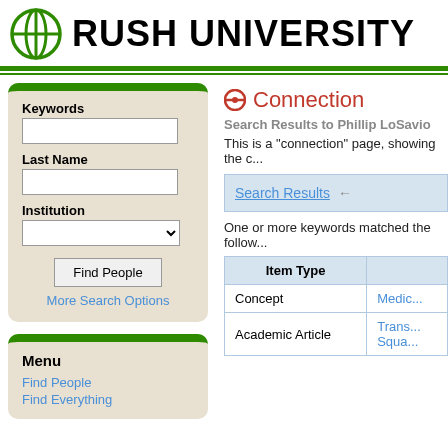RUSH UNIVERSITY
Connection
Search Results to Phillip LoSavio
This is a "connection" page, showing the c...
Search Results →
One or more keywords matched the follow...
| Item Type |  |
| --- | --- |
| Concept | Medic... |
| Academic Article | Trans... Squa... |
Keywords
Last Name
Institution
Find People
More Search Options
Menu
Find People
Find Everything